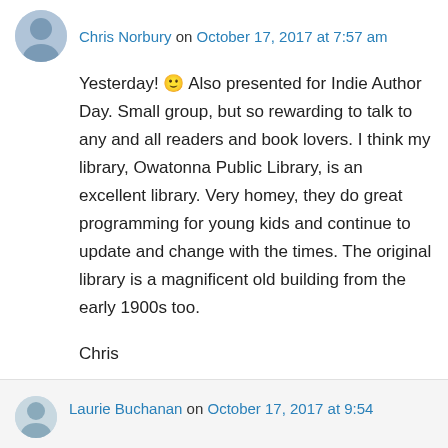Chris Norbury on October 17, 2017 at 7:57 am
Yesterday! 🙂 Also presented for Indie Author Day. Small group, but so rewarding to talk to any and all readers and book lovers. I think my library, Owatonna Public Library, is an excellent library. Very homey, they do great programming for young kids and continue to update and change with the times. The original library is a magnificent old building from the early 1900s too.

Chris
↳ Reply
Laurie Buchanan on October 17, 2017 at 9:54